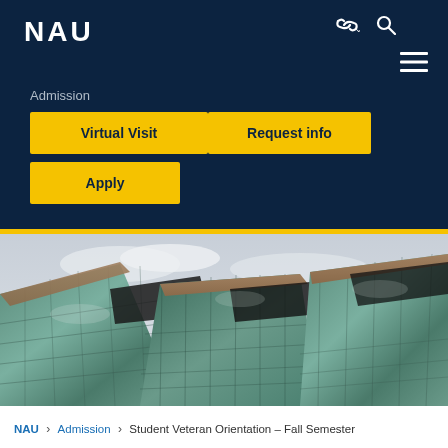NAU
Admission
Virtual Visit
Request info
Apply
[Figure (photo): Upward-angle photo of a modern glass and steel university building facade with reflective panels and geometric protrusions against a cloudy sky]
NAU > Admission > Student Veteran Orientation – Fall Semester